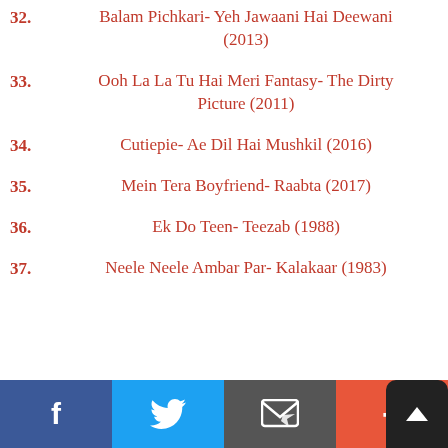32. Balam Pichkari- Yeh Jawaani Hai Deewani (2013)
33. Ooh La La Tu Hai Meri Fantasy- The Dirty Picture (2011)
34. Cutiepie- Ae Dil Hai Mushkil (2016)
35. Mein Tera Boyfriend- Raabta (2017)
36. Ek Do Teen- Teezab (1988)
37. Neele Neele Ambar Par- Kalakaar (1983)